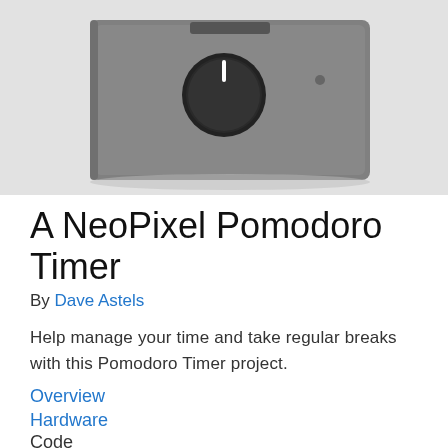[Figure (photo): A gray 3D-printed enclosure device with a black rotary knob/encoder mounted on top, photographed against a white/light gray background. The device appears to be a NeoPixel Pomodoro Timer hardware project.]
A NeoPixel Pomodoro Timer
By Dave Astels
Help manage your time and take regular breaks with this Pomodoro Timer project.
Overview
Hardware
Code
Assembly